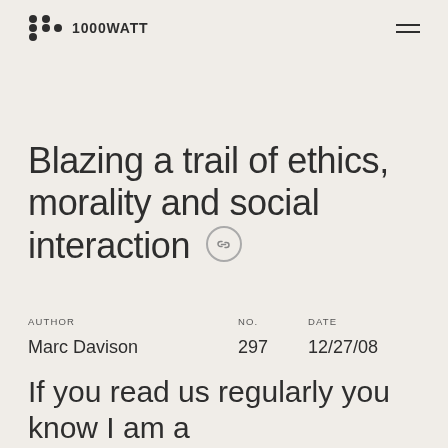1000WATT
Blazing a trail of ethics, morality and social interaction
| AUTHOR | NO. | DATE |
| --- | --- | --- |
| Marc Davison | 297 | 12/27/08 |
If you read us regularly you know I am a